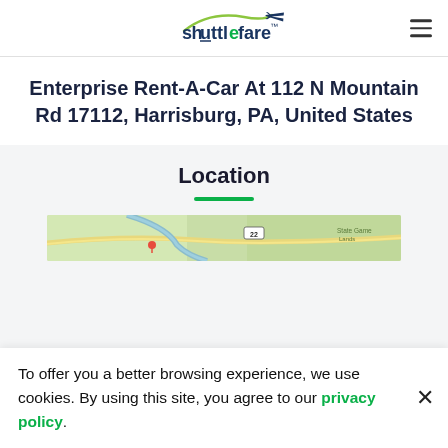shuttlefare
Enterprise Rent-A-Car At 112 N Mountain Rd 17112, Harrisburg, PA, United States
Location
[Figure (map): Map thumbnail showing the area around 112 N Mountain Rd, Harrisburg, PA with green terrain and road markings]
To offer you a better browsing experience, we use cookies. By using this site, you agree to our privacy policy.